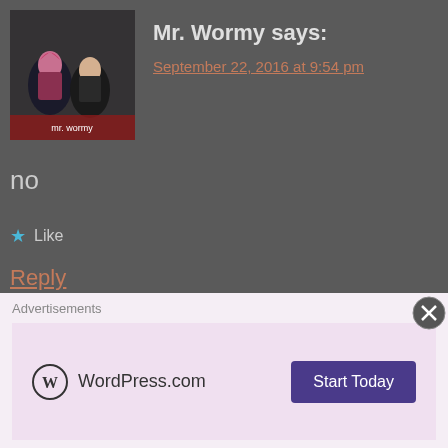Mr. Wormy says:
September 22, 2016 at 9:54 pm
no
★ Like
Reply
Armin says:
October 4, 2016 at 4:44 pm
please send me the installer please i want to
Advertisements
WordPress.com
Start Today